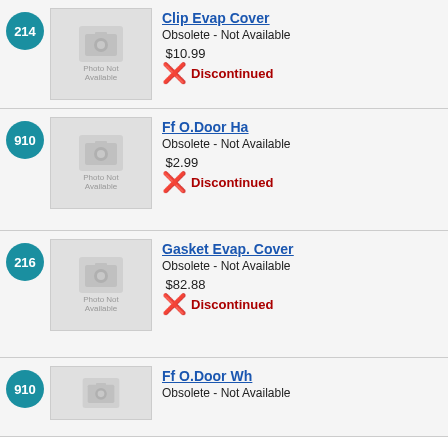214 | Clip Evap Cover | Obsolete - Not Available | $10.99 | Discontinued
910 | Ff O.Door Ha | Obsolete - Not Available | $2.99 | Discontinued
216 | Gasket Evap. Cover | Obsolete - Not Available | $82.88 | Discontinued
910 | Ff O.Door Wh | Obsolete - Not Available